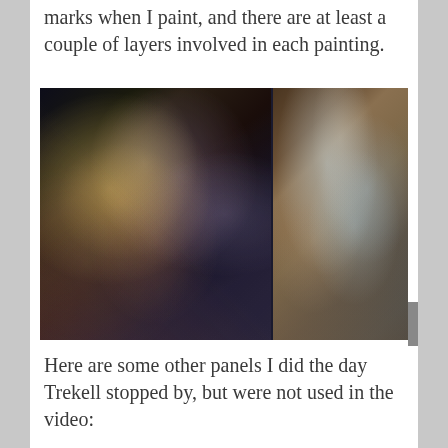marks when I paint, and there are at least a couple of layers involved in each painting.
[Figure (photo): Two paintings side by side: left shows two figures with flowing hair and flowers in a dark atmospheric painting; right shows figures in blue-green and warm tones in an impressionistic style.]
Here are some other panels I did the day Trekell stopped by, but were not used in the video:
[Figure (photo): A painting panel taped with blue/gray tape strips horizontally and vertically, showing a soft figurative painting underneath.]